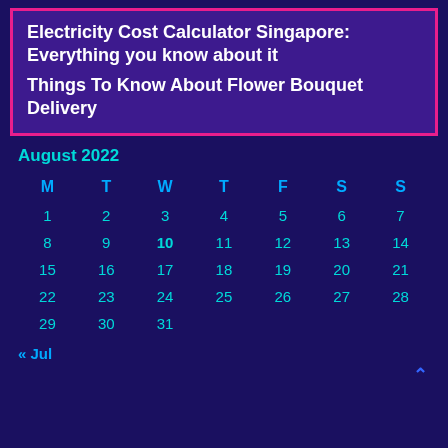Electricity Cost Calculator Singapore: Everything you know about it
Things To Know About Flower Bouquet Delivery
| M | T | W | T | F | S | S |
| --- | --- | --- | --- | --- | --- | --- |
| 1 | 2 | 3 | 4 | 5 | 6 | 7 |
| 8 | 9 | 10 | 11 | 12 | 13 | 14 |
| 15 | 16 | 17 | 18 | 19 | 20 | 21 |
| 22 | 23 | 24 | 25 | 26 | 27 | 28 |
| 29 | 30 | 31 |  |  |  |  |
« Jul